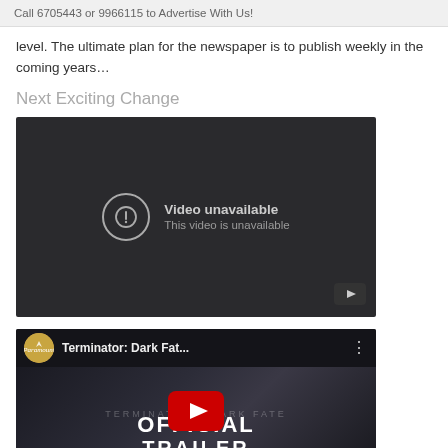Call 6705443 or 9966115 to Advertise With Us!
level. The ultimate plan for the newspaper is to publish weekly in the coming years…
Next Exciting Change
[Figure (screenshot): YouTube video unavailable placeholder — dark background with exclamation icon and text 'Video unavailable / This video is unavailable' plus YouTube play button in corner]
[Figure (screenshot): YouTube thumbnail for 'Terminator: Dark Fat...' showing Paramount logo, dark action scene background, red YouTube play button, and text 'OFFICIAL TRAILER' at the bottom]